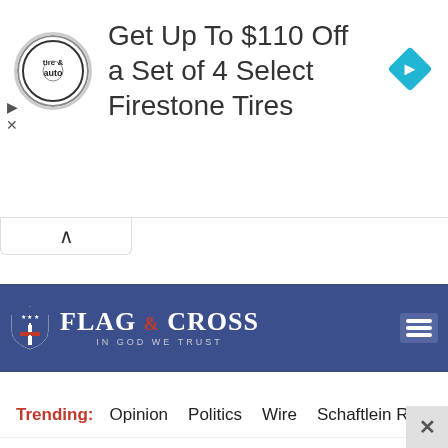[Figure (infographic): Advertisement banner: tire and auto logo circle, text 'Get Up To $110 Off a Set of 4 Select Firestone Tires', blue diamond navigation icon on right]
Get Up To $110 Off a Set of 4 Select Firestone Tires
[Figure (logo): Flag & Cross logo: shield with cross and stars, brand name FLAG & CROSS, tagline IN GOD WE TRUST]
Trending:   Opinion   Politics   Wire   Schaftlein R